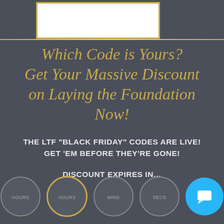[Figure (other): White rectangle with gold border at top of page, partially visible]
Which Code is Yours? Get Your Massive Discount on Laying the Foundation Now!
THE LTF "BLACK FRIDAY" CODES ARE LIVE! GET 'EM BEFORE THEY'RE GONE!
DISCOUNT EXPIRES IN...
[Figure (other): Four countdown timer circles (grey borders, one with gold border) and a blue chat button circle at bottom of page]